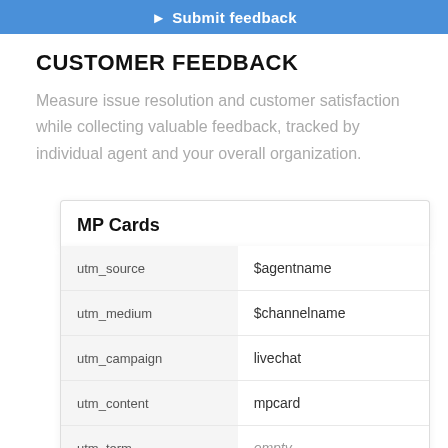Submit feedback
CUSTOMER FEEDBACK
Measure issue resolution and customer satisfaction while collecting valuable feedback, tracked by individual agent and your overall organization.
|  |  |
| --- | --- |
| utm_source | $agentname |
| utm_medium | $channelname |
| utm_campaign | livechat |
| utm_content | mpcard |
| utm_term | empty |
| other | eg. *cus... |